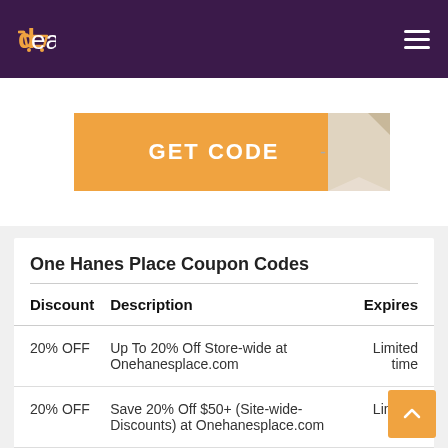deal sucker
[Figure (screenshot): Orange GET CODE coupon button with folded corner tag]
One Hanes Place Coupon Codes
| Discount | Description | Expires |
| --- | --- | --- |
| 20% OFF | Up To 20% Off Store-wide at Onehanesplace.com | Limited time |
| 20% OFF | Save 20% Off $50+ (Site-wide- Discounts) at Onehanesplace.com | Limited time |
| 15% OFF | Get 15% Off (Sitewide) at | Limited |